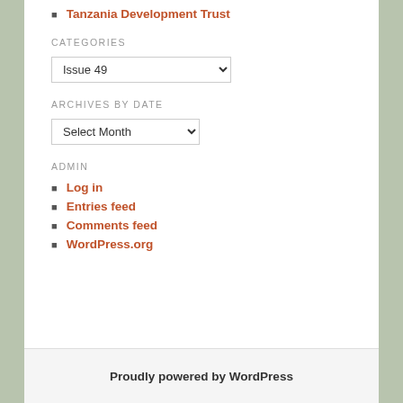Tanzania Development Trust
CATEGORIES
Issue 49 [dropdown]
ARCHIVES BY DATE
Select Month [dropdown]
ADMIN
Log in
Entries feed
Comments feed
WordPress.org
Proudly powered by WordPress